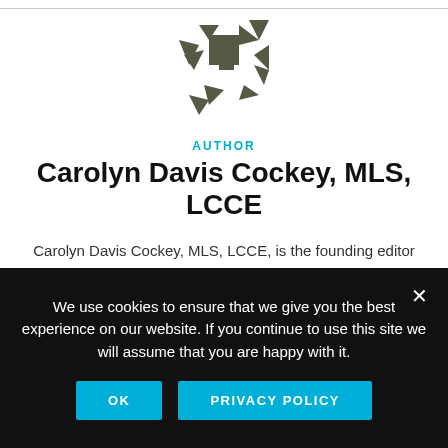[Figure (logo): Decorative geometric star/asterisk logo made of dark olive/grey triangular shapes]
AUTHOR
Carolyn Davis Cockey, MLS, LCCE
Carolyn Davis Cockey, MLS, LCCE, is the founding editor of Healthy Mom&Baby, Senior Director of Partnerships & Publications at AWHONN, and a Lamaze-Certified childbirth educator in Sarasota, FL.
We use cookies to ensure that we give you the best experience on our website. If you continue to use this site we will assume that you are happy with it.